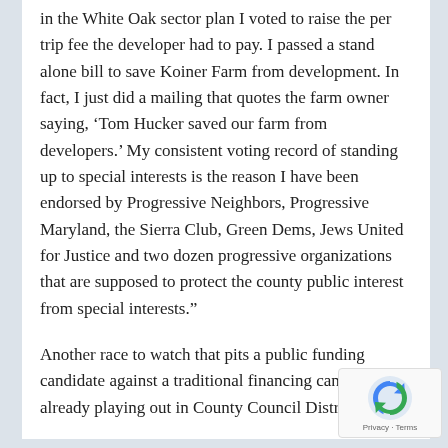in the White Oak sector plan I voted to raise the per trip fee the developer had to pay. I passed a stand alone bill to save Koiner Farm from development. In fact, I just did a mailing that quotes the farm owner saying, ‘Tom Hucker saved our farm from developers.’ My consistent voting record of standing up to special interests is the reason I have been endorsed by Progressive Neighbors, Progressive Maryland, the Sierra Club, Green Dems, Jews United for Justice and two dozen progressive organizations that are supposed to protect the county public interest from special interests.”
Another race to watch that pits a public funding candidate against a traditional financing candidate is already playing out in County Council District 3.